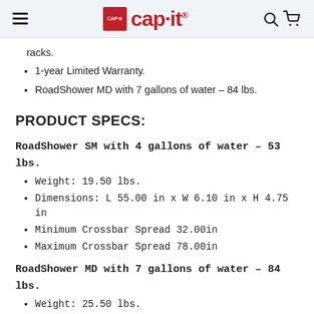CAP-it
racks.
1-year Limited Warranty.
RoadShower MD with 7 gallons of water – 84 lbs.
PRODUCT SPECS:
RoadShower SM with 4 gallons of water – 53 lbs.
Weight: 19.50 lbs.
Dimensions: L 55.00 in x W 6.10 in x H 4.75 in
Minimum Crossbar Spread 32.00in
Maximum Crossbar Spread 78.00in
RoadShower MD with 7 gallons of water – 84 lbs.
Weight: 25.50 lbs.